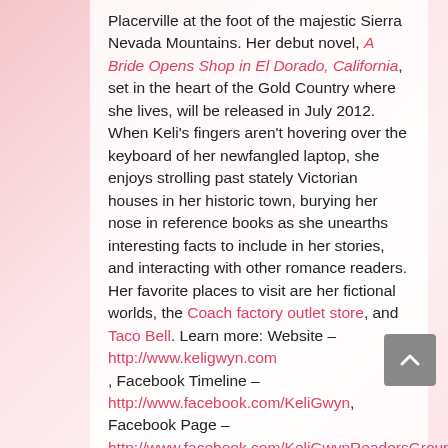Placerville at the foot of the majestic Sierra Nevada Mountains. Her debut novel, A Bride Opens Shop in El Dorado, California, set in the heart of the Gold Country where she lives, will be released in July 2012. When Keli's fingers aren't hovering over the keyboard of her newfangled laptop, she enjoys strolling past stately Victorian houses in her historic town, burying her nose in reference books as she unearths interesting facts to include in her stories, and interacting with other romance readers. Her favorite places to visit are her fictional worlds, the Coach factory outlet store, and Taco Bell. Learn more: Website – http://www.keligwyn.com , Facebook Timeline – http://www.facebook.com/KeliGwyn, Facebook Page – http://www.facebook.com/KeliGwynReadersGroup,
[Figure (other): Back to top button - grey rounded square with white upward-pointing chevron arrow]